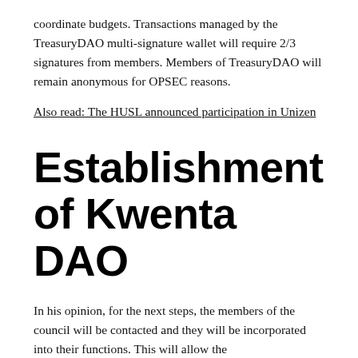coordinate budgets. Transactions managed by the TreasuryDAO multi-signature wallet will require 2/3 signatures from members. Members of TreasuryDAO will remain anonymous for OPSEC reasons.
Also read: The HUSL announced participation in Unizen
Establishment of Kwenta DAO
In his opinion, for the next steps, the members of the council will be contacted and they will be incorporated into their functions. This will allow the